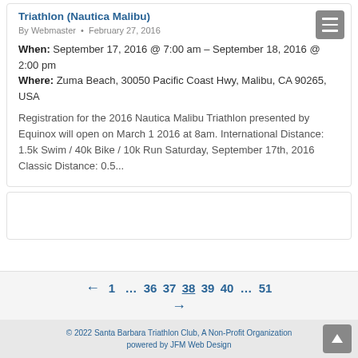Triathlon (Nautica Malibu)
By Webmaster • February 27, 2016
When: September 17, 2016 @ 7:00 am – September 18, 2016 @ 2:00 pm
Where: Zuma Beach, 30050 Pacific Coast Hwy, Malibu, CA 90265, USA
Registration for the 2016 Nautica Malibu Triathlon presented by Equinox will open on March 1 2016 at 8am. International Distance: 1.5k Swim / 40k Bike / 10k Run Saturday, September 17th, 2016 Classic Distance: 0.5...
← 1 … 36 37 38 39 40 … 51 →
© 2022 Santa Barbara Triathlon Club, A Non-Profit Organization
powered by JFM Web Design